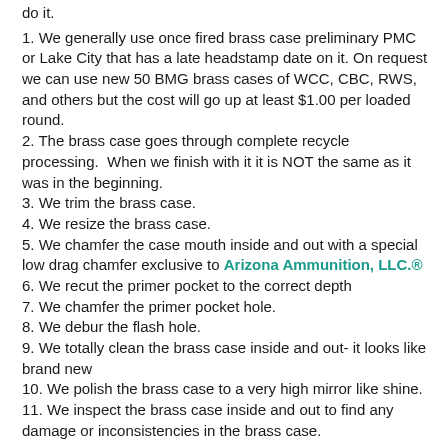do it.
1. We generally use once fired brass case preliminary PMC or Lake City that has a late headstamp date on it. On request we can use new 50 BMG brass cases of WCC, CBC, RWS, and others but the cost will go up at least $1.00 per loaded round.
2. The brass case goes through complete recycle processing. When we finish with it it is NOT the same as it was in the beginning.
3. We trim the brass case.
4. We resize the brass case.
5. We chamfer the case mouth inside and out with a special low drag chamfer exclusive to Arizona Ammunition, LLC.®
6. We recut the primer pocket to the correct depth
7. We chamfer the primer pocket hole.
8. We debur the flash hole.
9. We totally clean the brass case inside and out- it looks like brand new
10. We polish the brass case to a very high mirror like shine.
11. We inspect the brass case inside and out to find any damage or inconsistencies in the brass case.